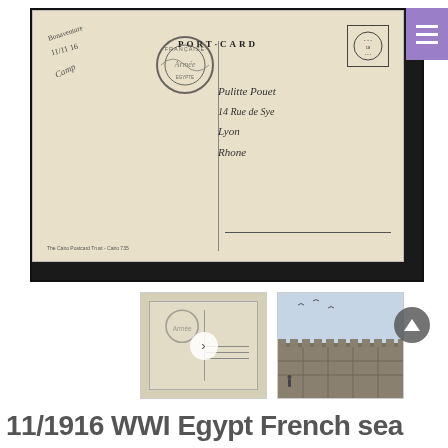[Figure (photo): Back of a WWI-era postcard from Egypt, dated 11/1916. Shows handwritten address in French cursive ('Pulitte Pouet, 14 Rue de Sye, Lyon, Rhone'), a French military cancellation stamp ('FRANÇAISE'), PORT CARD text, a stamp box in top right. Text at bottom left reads 'The Cairo Postcard Trust - Cairo 735'.]
[Figure (photo): Thumbnail of the postcard back, smaller version of main image.]
[Figure (photo): Thumbnail showing the front of the postcard with a blue-tinted photograph of ancient Egyptian fortification walls and a small figure, seagulls visible in sky.]
11/1916 WWI Egypt French sea